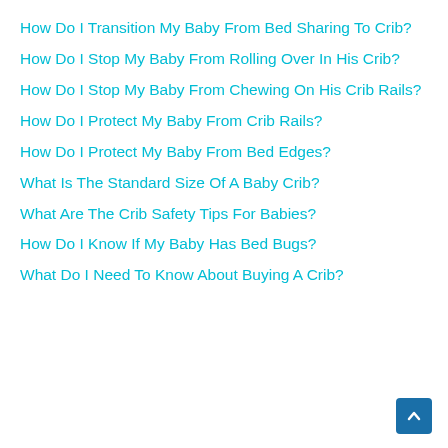How Do I Transition My Baby From Bed Sharing To Crib?
How Do I Stop My Baby From Rolling Over In His Crib?
How Do I Stop My Baby From Chewing On His Crib Rails?
How Do I Protect My Baby From Crib Rails?
How Do I Protect My Baby From Bed Edges?
What Is The Standard Size Of A Baby Crib?
What Are The Crib Safety Tips For Babies?
How Do I Know If My Baby Has Bed Bugs?
What Do I Need To Know About Buying A Crib?